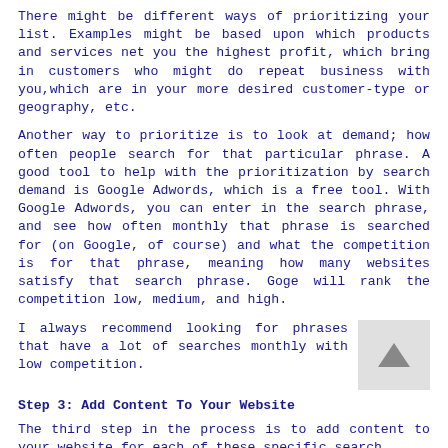There might be different ways of prioritizing your list. Examples might be based upon which products and services net you the highest profit, which bring in customers who might do repeat business with you,which are in your more desired customer-type or geography, etc.
Another way to prioritize is to look at demand; how often people search for that particular phrase. A good tool to help with the prioritization by search demand is Google Adwords, which is a free tool. With Google Adwords, you can enter in the search phrase, and see how often monthly that phrase is searched for (on Google, of course) and what the competition is for that phrase, meaning how many websites satisfy that search phrase. Goge will rank the competition low, medium, and high.
I always recommend looking for phrases that have a lot of searches monthly with low competition.
[Figure (other): Back to top arrow button - grey square with upward pointing arrow]
Step 3: Add Content To Your Website
The third step in the process is to add content to your website for each of these specific search